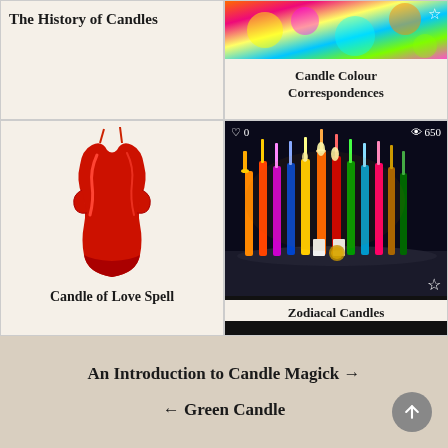The History of Candles
[Figure (photo): Colorful abstract flowers/candles image with a star icon overlay]
Candle Colour Correspondences
[Figure (photo): Red sculptural candle of two figures embracing (love spell candle)]
Candle of Love Spell
[Figure (photo): Zodiacal candles arranged in a semicircle on dark background, with heart 0 and eye 650 icons, and a star icon overlay]
Zodiacal Candles
An Introduction to Candle Magick →
← Green Candle